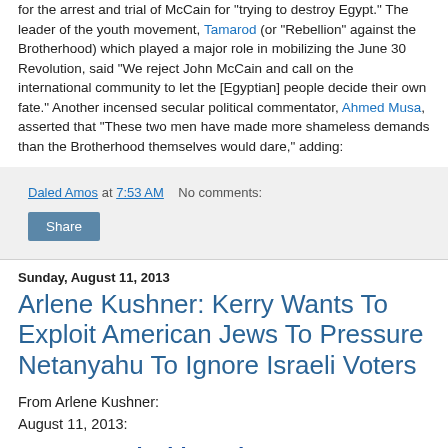for the arrest and trial of McCain for "trying to destroy Egypt." The leader of the youth movement, Tamarod (or "Rebellion" against the Brotherhood) which played a major role in mobilizing the June 30 Revolution, said "We reject John McCain and call on the international community to let the [Egyptian] people decide their own fate." Another incensed secular political commentator, Ahmed Musa, asserted that "These two men have made more shameless demands than the Brotherhood themselves would dare," adding:
Daled Amos at 7:53 AM    No comments:
Share
Sunday, August 11, 2013
Arlene Kushner: Kerry Wants To Exploit American Jews To Pressure Netanyahu To Ignore Israeli Voters
From Arlene Kushner:
August 11, 2013:
Despicable and Dangerous